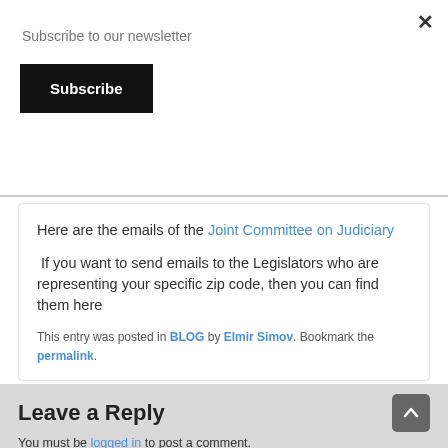Subscribe to our newsletter
Subscribe
Here are the emails of the Joint Committee on Judiciary
If you want to send emails to the Legislators who are representing your specific zip code, then you can find them here
This entry was posted in BLOG by Elmir Simov. Bookmark the permalink.
Leave a Reply
You must be logged in to post a comment.